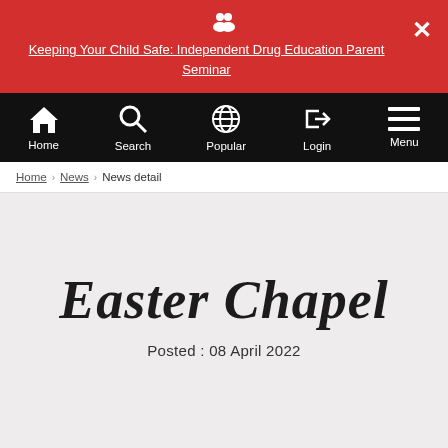Keeping Your Child Safe: Independent Drug Education Parent Seminar
[Figure (screenshot): Website navigation bar with Home, Search, Popular, Login, Menu icons on black background]
Home › News › News detail
Easter Chapel
Posted : 08 April 2022